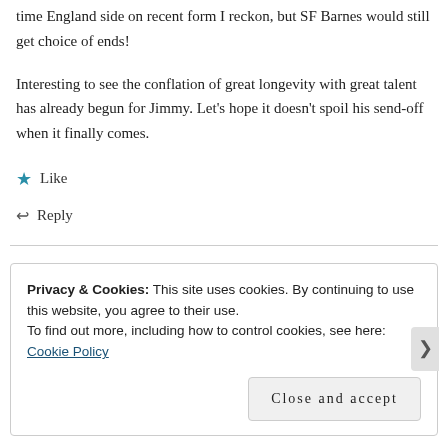time England side on recent form I reckon, but SF Barnes would still get choice of ends!
Interesting to see the conflation of great longevity with great talent has already begun for Jimmy. Let's hope it doesn't spoil his send-off when it finally comes.
★ Like
↩ Reply
Privacy & Cookies: This site uses cookies. By continuing to use this website, you agree to their use.
To find out more, including how to control cookies, see here: Cookie Policy
Close and accept